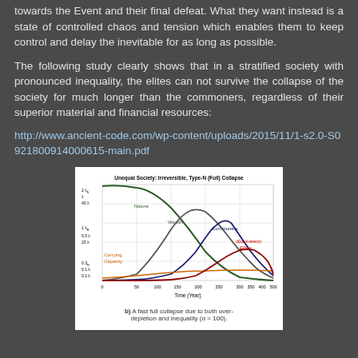towards the Event and their final defeat. What they want instead is a state of controlled chaos and tension which enables them to keep control and delay the inevitable for as long as possible.
The following study clearly shows that in a stratified society with pronounced inequality, the elites can not survive the collapse of the society for much longer than the commoners, regardless of their superior material and financial resources:
http://www.ancient-code.com/wp-content/uploads/2015/11/1-s2.0-S0921800914000615-main.pdf
[Figure (line-chart): Line chart showing Nature, Wealth, Commoners, Carrying Capacity, and (Equivalent) Elites over Time (Year) from 0 to 500. Nature peaks early then declines, Wealth peaks around 200, Commoners peak around 300, Elites peak around 350-400 as a lower curve. Carrying Capacity stays low.]
b) A fast full collapse due to both over-depletion and inequality (α = 100).